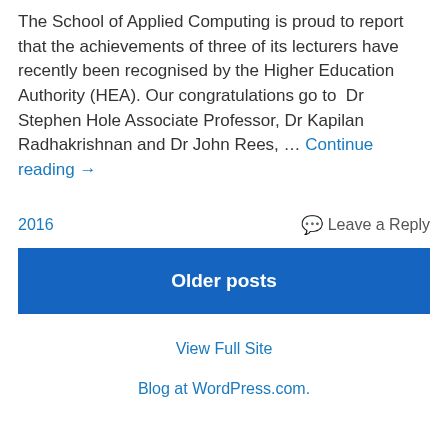The School of Applied Computing is proud to report that the achievements of three of its lecturers have recently been recognised by the Higher Education Authority (HEA). Our congratulations go to Dr Stephen Hole Associate Professor, Dr Kapilan Radhakrishnan and Dr John Rees, … Continue reading →
2016   Leave a Reply
Older posts
View Full Site
Blog at WordPress.com.